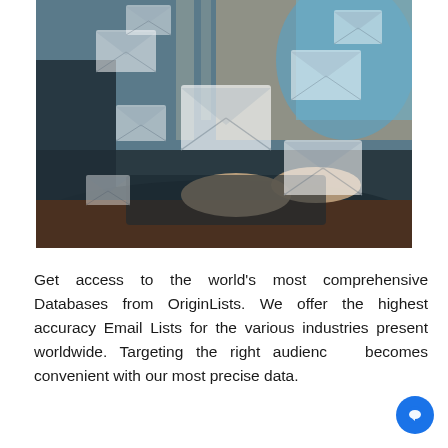[Figure (photo): Photo of a person typing on a laptop keyboard with multiple semi-transparent email envelope icons overlaid across the image, representing email communication and marketing.]
Get access to the world's most comprehensive Databases from OriginLists. We offer the highest accuracy Email Lists for the various industries present worldwide. Targeting the right audience becomes convenient with our most precise data.